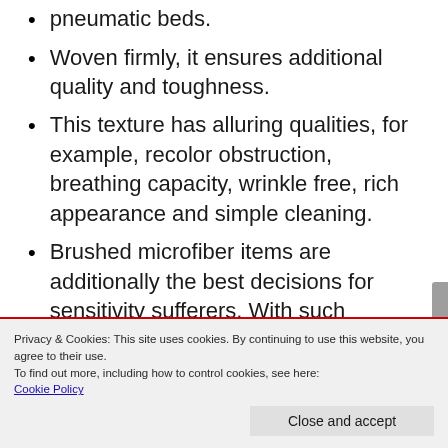pneumatic beds.
Woven firmly, it ensures additional quality and toughness.
This texture has alluring qualities, for example, recolor obstruction, breathing capacity, wrinkle free, rich appearance and simple cleaning.
Brushed microfiber items are additionally the best decisions for sensitivity sufferers. With such advantages, it is no big surprise brushed microfiber is the vast majority’s most loved with
Privacy & Cookies: This site uses cookies. By continuing to use this website, you agree to their use.
To find out more, including how to control cookies, see here: Cookie Policy
Close and accept